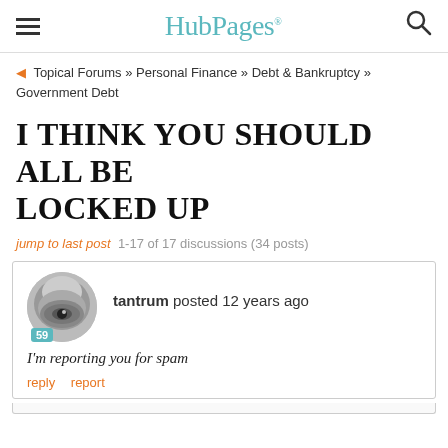HubPages
Topical Forums » Personal Finance » Debt & Bankruptcy » Government Debt
I THINK YOU SHOULD ALL BE LOCKED UP
jump to last post  1-17 of 17 discussions (34 posts)
tantrum posted 12 years ago
I'm reporting you for spam
reply  report